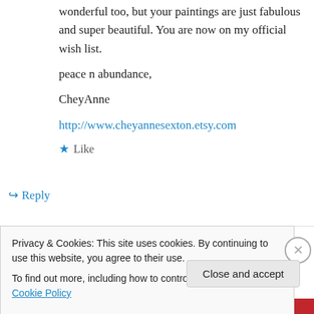wonderful too, but your paintings are just fabulous and super beautiful. You are now on my official wish list.

peace n abundance,

CheyAnne

http://www.cheyannesexton.etsy.com
Like
Reply
marygeaner on September 1, 2013 at 10:10 am
Privacy & Cookies: This site uses cookies. By continuing to use this website, you agree to their use.
To find out more, including how to control cookies, see here: Cookie Policy